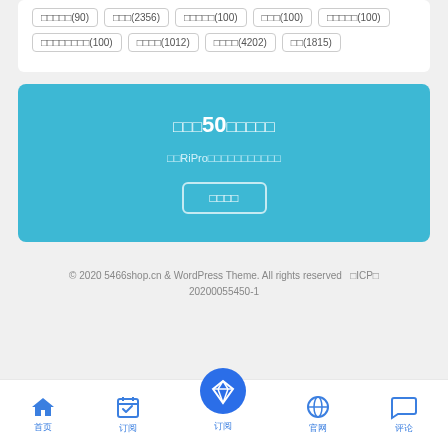□□□□□(90)
□□□(2356)
□□□□□(100)
□□□(100)
□□□□□(100)
□□□□□□□□(100)
□□□□(1012)
□□□□(4202)
□□(1815)
□□□50□□□□□
□□RiPro□□□□□□□□□□□
□□□□
© 2020 5466shop.cn & WordPress Theme. All rights reserved  □ICP□ 20200055450-1
首页 订阅 订阅 官网 评论